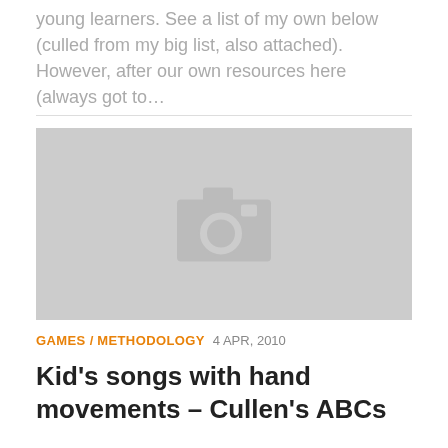young learners. See a list of my own below (culled from my big list, also attached). However, after our own resources here (always got to…
[Figure (photo): Placeholder image with a camera icon on a light grey background]
GAMES / METHODOLOGY  4 APR, 2010
Kid's songs with hand movements – Cullen's ABCs